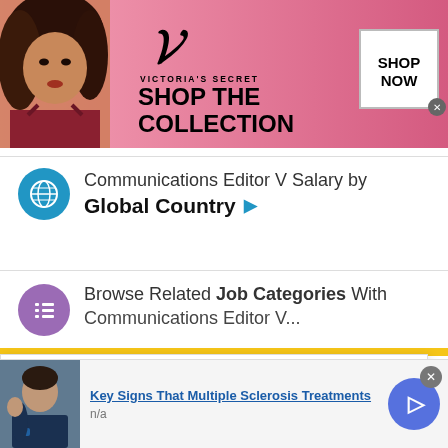[Figure (illustration): Victoria's Secret advertisement banner with model, VS logo, 'SHOP THE COLLECTION' text, and 'SHOP NOW' button]
Communications Editor V Salary by Global Country ▶
Browse Related Job Categories With Communications Editor V...
This site uses cookies and other similar technologies to provide site functionality, analyze traffic and usage, and
[Figure (illustration): Bottom advertisement: 'Key Signs That Multiple Sclerosis Treatments' with person image and arrow button, n/a subtitle]